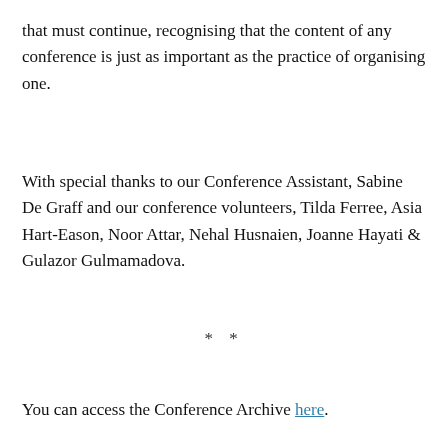that must continue, recognising that the content of any conference is just as important as the practice of organising one.
With special thanks to our Conference Assistant, Sabine De Graff and our conference volunteers, Tilda Ferree, Asia Hart-Eason, Noor Attar, Nehal Husnaien, Joanne Hayati & Gulazor Gulmamadova.
* *
You can access the Conference Archive here.
You can access the individual discussion panels via the links